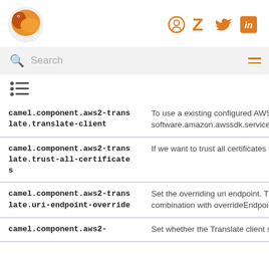Apache Camel documentation — social icons: GitHub, Zulip, Twitter, LinkedIn
Search
[Figure (other): TOC/list icon]
| Property | Description |
| --- | --- |
| camel.component.aws2-translate.translate-client | To use a existing configured AWS T... software.amazon.awssdk.services.tr... |
| camel.component.aws2-translate.trust-all-certificates | If we want to trust all certificates in... |
| camel.component.aws2-translate.uri-endpoint-override | Set the overriding uri endpoint. This... combination with overrideEndpoint... |
| camel.component.aws2- | Set whether the Translate client sh... |